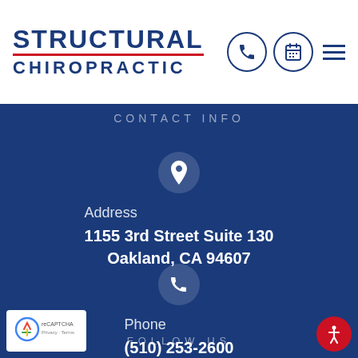[Figure (logo): Structural Chiropractic logo with phone, calendar, and menu icons in white header bar]
CONTACT INFO
[Figure (illustration): Map pin location icon in a dark blue circle]
Address
1155 3rd Street Suite 130
Oakland, CA 94607
[Figure (illustration): Phone handset icon in a dark blue circle]
Phone
(510) 253-2600
FOLLOW US
[Figure (illustration): reCAPTCHA badge with Privacy - Terms text]
[Figure (illustration): Accessibility icon in red circle]